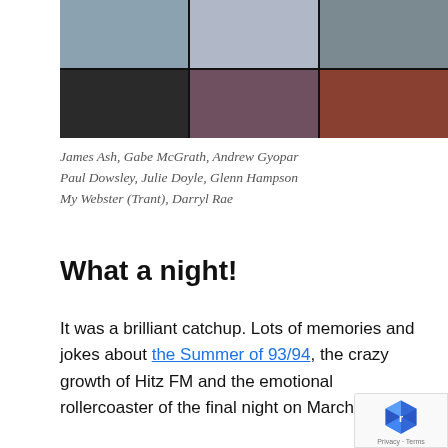[Figure (photo): A 2x3 grid of video call thumbnails showing six people in a virtual meeting. Top row: a bald man in a white t-shirt, a blonde woman in a sports jersey, a man with headphones. Bottom row: a dark space/empty cell, a woman with hand on chin, a bearded man in a red shirt.]
James Ash, Gabe McGrath, Andrew Gyopar Paul Dowsley, Julie Doyle, Glenn Hampson My Webster (Trant), Darryl Rae
What a night!
It was a brilliant catchup. Lots of memories and jokes about the Summer of 93/94, the crazy growth of Hitz FM and the emotional rollercoaster of the final night on March 11t